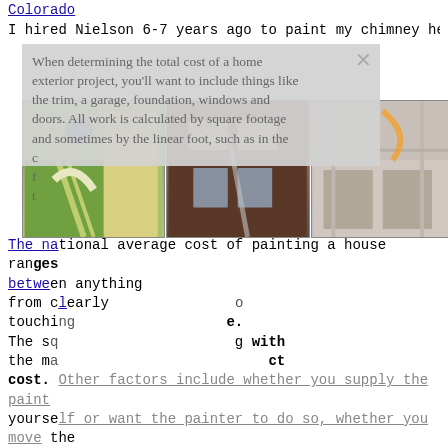Colorado
I hired Nielson 6-7 years ago to paint my chimney he pai...
[Figure (photo): Popup overlay box with gray background showing text about home exterior painting costs, with an X close button. Below and overlapping: a collage of three photos showing people on ladders doing exterior painting work on houses.]
The national average cost of painting a house ranges between... anything from clearly... touch... The sq... with the ma... ct cost. Other factors include whether you supply the paint yourself or want the painter to do so, whether you move the furniture and do the prep work or ask them to do it, and whether any repair work is needed on the walls. Home Painters Aurora, CO